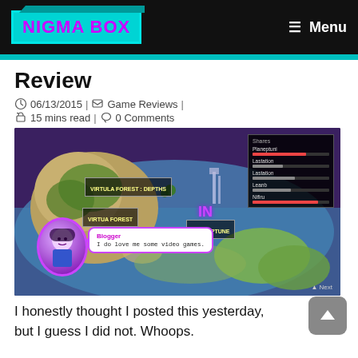NIGMA BOX | Menu
Review
06/13/2015 | Game Reviews | 15 mins read | 0 Comments
[Figure (screenshot): Video game screenshot showing a world map with locations labeled 'VIRTUA FOREST', 'VIRTUA FOREST : DEPTHS', and 'PLANEPTUNE'. A character named 'Blogger' says 'I do love me some video games.' in a speech bubble. A HUD panel shows character stats in the top right.]
I honestly thought I posted this yesterday, but I guess I did not. Whoops.